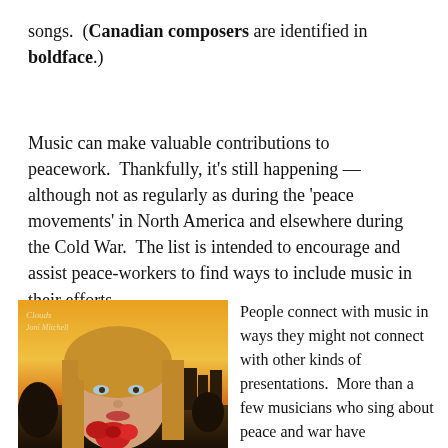songs.  (Canadian composers are identified in boldface.)
Music can make valuable contributions to peacework.  Thankfully, it’s still happening — although not as regularly as during the ‘peace movements’ in North America and elsewhere during the Cold War.  The list is intended to encourage and assist peace-workers to find ways to include music in their efforts.
[Figure (illustration): Album cover for 'Clouds' by Joni Mitchell, showing an illustrated portrait of a woman with long blonde hair holding a red flower, with a warm sunset sky and buildings in the background. Text 'Clouds' and 'Joni Mitchell' is visible in the upper left.]
People connect with music in ways they might not connect with other kinds of presentations.  More than a few musicians who sing about peace and war have commented that music is